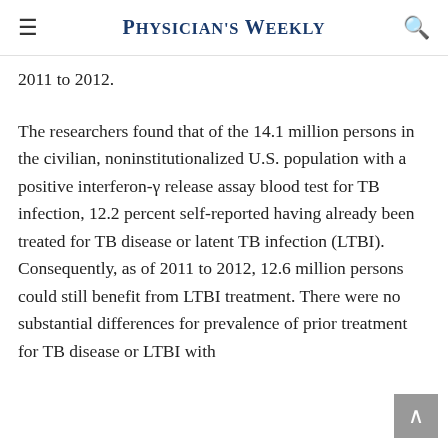Physician's Weekly
2011 to 2012.
The researchers found that of the 14.1 million persons in the civilian, noninstitutionalized U.S. population with a positive interferon-γ release assay blood test for TB infection, 12.2 percent self-reported having already been treated for TB disease or latent TB infection (LTBI). Consequently, as of 2011 to 2012, 12.6 million persons could still benefit from LTBI treatment. There were no substantial differences for prevalence of prior treatment for TB disease or LTBI with